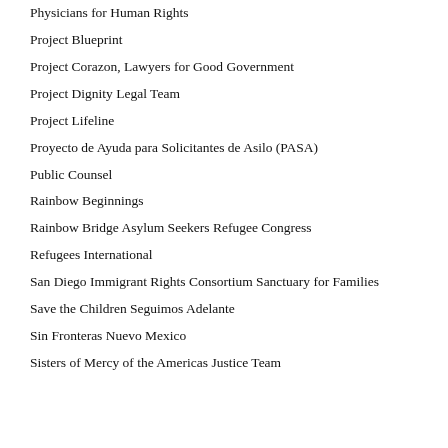Physicians for Human Rights
Project Blueprint
Project Corazon, Lawyers for Good Government
Project Dignity Legal Team
Project Lifeline
Proyecto de Ayuda para Solicitantes de Asilo (PASA)
Public Counsel
Rainbow Beginnings
Rainbow Bridge Asylum Seekers Refugee Congress
Refugees International
San Diego Immigrant Rights Consortium Sanctuary for Families
Save the Children Seguimos Adelante
Sin Fronteras Nuevo Mexico
Sisters of Mercy of the Americas Justice Team